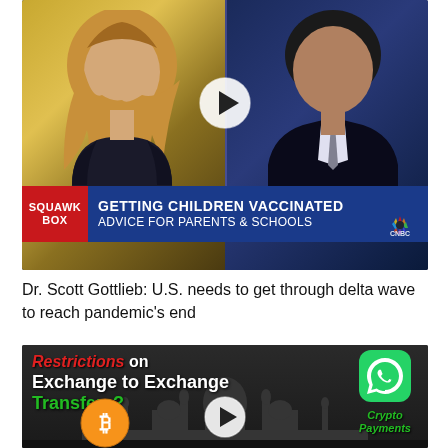[Figure (screenshot): CNBC Squawk Box news segment screenshot showing a female anchor on the left and Dr. Scott Gottlieb on the right, with a lower-third chyron reading 'SQUAWK BOX | GETTING CHILDREN VACCINATED ADVICE FOR PARENTS & SCHOOLS'. A video play button is centered. CNBC logo visible bottom right.]
Dr. Scott Gottlieb: U.S. needs to get through delta wave to reach pandemic's end
[Figure (screenshot): Dark video thumbnail with text 'RESTRICTIONS ON EXCHANGE TO EXCHANGE TRANSFERS?' in red, white, and green stylized fonts over a Taj Mahal silhouette background, with WhatsApp logo and 'CRYPTO PAYMENTS' label on the right, and Bitcoin logo at bottom left. Play button centered.]